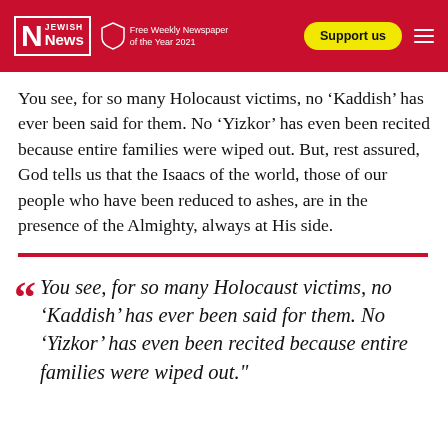Jewish News — Free Weekly Newspaper of the Year 2021 — Support us
You see, for so many Holocaust victims, no ‘Kaddish’ has ever been said for them. No ‘Yizkor’ has even been recited because entire families were wiped out. But, rest assured, God tells us that the Isaacs of the world, those of our people who have been reduced to ashes, are in the presence of the Almighty, always at His side.
““ You see, for so many Holocaust victims, no ‘Kaddish’ has ever been said for them. No ‘Yizkor’ has even been recited because entire families were wiped out.”